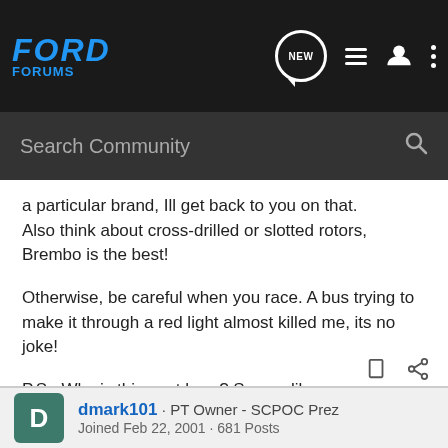[Figure (screenshot): Ford Forums navigation bar with logo, NEW chat icon, list icon, user icon, and three-dot menu]
[Figure (screenshot): Search Community search bar with magnifying glass icon on dark background]
a particular brand, Ill get back to you on that. Also think about cross-drilled or slotted rotors, Brembo is the best!
Otherwise, be careful when you race. A bus trying to make it through a red light almost killed me, its no joke!
P.S.: Why is this post here? Seems like everyone posts everything in here regardless of the subject...
dmark101 · PT Owner - SCPOC Prez
Joined Feb 22, 2001 · 681 Posts